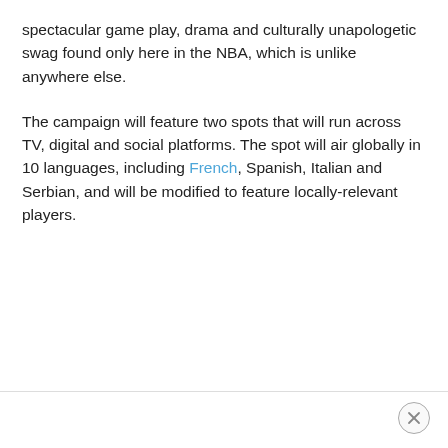spectacular game play, drama and culturally unapologetic swag found only here in the NBA, which is unlike anywhere else.
The campaign will feature two spots that will run across TV, digital and social platforms. The spot will air globally in 10 languages, including French, Spanish, Italian and Serbian, and will be modified to feature locally-relevant players.